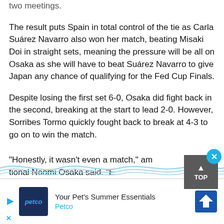two meetings.
The result puts Spain in total control of the tie as Carla Suárez Navarro also won her match, beating Misaki Doi in straight sets, meaning the pressure will be all on Osaka as she will have to beat Suárez Navarro to give Japan any chance of qualifying for the Fed Cup Finals.
Despite losing the first set 6-0, Osaka did fight back in the second, breaking at the start to lead 2-0. However, Sorribes Tormo quickly fought back to break at 4-3 to go on to win the match.
“Honestly, it wasn’t even a match,” am
tional Naomi Osaka said. “E
[Figure (other): Petco advertisement banner with logo, text 'Your Pet's Summer Essentials - Petco', navigation arrow icon, close X button, and TOP scroll button]